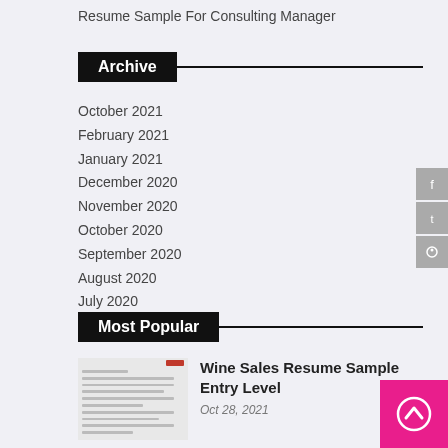Resume Sample For Consulting Manager
Archive
October 2021
February 2021
January 2021
December 2020
November 2020
October 2020
September 2020
August 2020
July 2020
Most Popular
[Figure (screenshot): Thumbnail of a resume document]
Wine Sales Resume Sample Entry Level
Oct 28, 2021